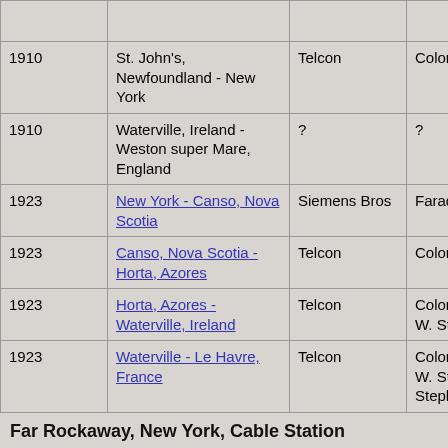| Year | Route | Manufacturer | Cable Name |
| --- | --- | --- | --- |
| 1910 | St. John's, Newfoundland - New York | Telcon | Colonia |
| 1910 | Waterville, Ireland - Weston super Mare, England | ? | ? |
| 1923 | New York - Canso, Nova Scotia | Siemens Bros | Faraday (2) |
| 1923 | Canso, Nova Scotia - Horta, Azores | Telcon | Colonia |
| 1923 | Horta, Azores - Waterville, Ireland | Telcon | Colonia - T. W. Stuart |
| 1923 | Waterville - Le Havre, France | Telcon | Colonia - T. W. Stuart - Stephan |
Far Rockaway, New York, Cable Station